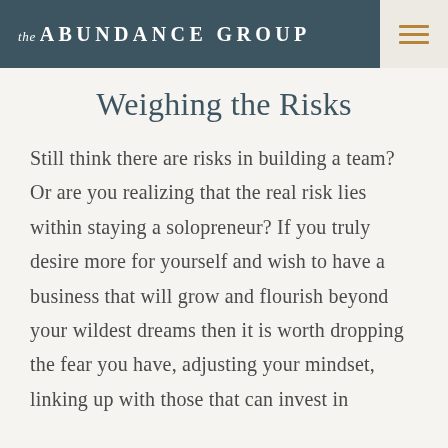the ABUNDANCE GROUP
Weighing the Risks
Still think there are risks in building a team? Or are you realizing that the real risk lies within staying a solopreneur? If you truly desire more for yourself and wish to have a business that will grow and flourish beyond your wildest dreams then it is worth dropping the fear you have, adjusting your mindset, linking up with those that can invest in